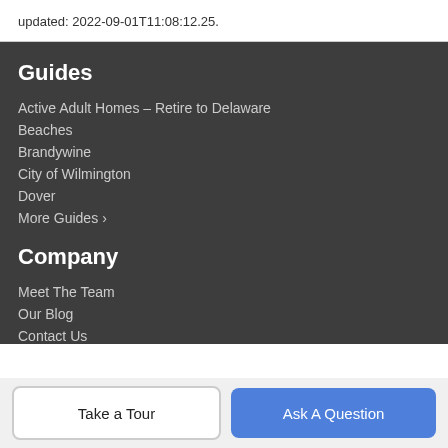updated: 2022-09-01T11:08:12.25.
Guides
Active Adult Homes – Retire to Delaware
Beaches
Brandywine
City of Wilmington
Dover
More Guides ›
Company
Meet The Team
Our Blog
Contact Us
Take a Tour
Ask A Question